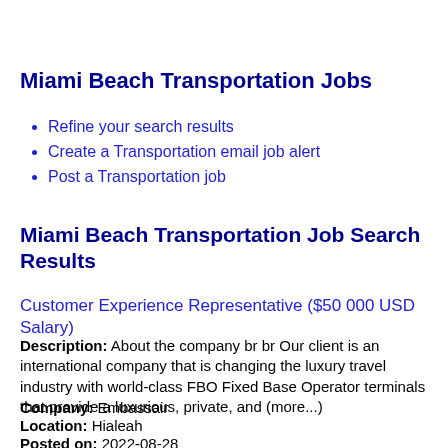Miami Beach Transportation Jobs
Refine your search results
Create a Transportation email job alert
Post a Transportation job
Miami Beach Transportation Job Search Results
Customer Experience Representative ($50 000 USD Salary)
Description: About the company br br Our client is an international company that is changing the luxury travel industry with world-class FBO Fixed Base Operator terminals that provide a luxurious, private, and (more...)
Company: Embassair
Location: Hialeah
Posted on: 2022-08-28